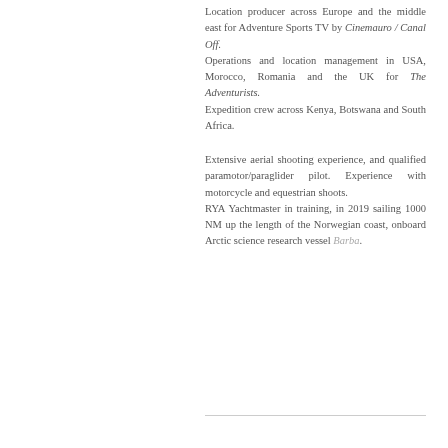Location producer across Europe and the middle east for Adventure Sports TV by Cinemauro / Canal Off.
Operations and location management in USA, Morocco, Romania and the UK for The Adventurists.
Expedition crew across Kenya, Botswana and South Africa.
Extensive aerial shooting experience, and qualified paramotor/paraglider pilot. Experience with motorcycle and equestrian shoots.
RYA Yachtmaster in training, in 2019 sailing 1000 NM up the length of the Norwegian coast, onboard Arctic science research vessel Barba.